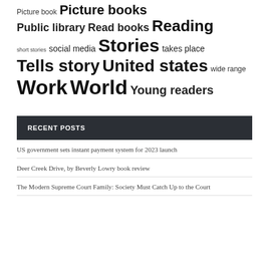Picture book Picture books Public library Read books Reading short stories social media Stories takes place Tells story United states wide range Work World Young readers
RECENT POSTS
US government sets instant payment system for 2023 launch
Deer Creek Drive, by Beverly Lowry book review
The Modern Supreme Court Family: Society Must Catch Up to the Court